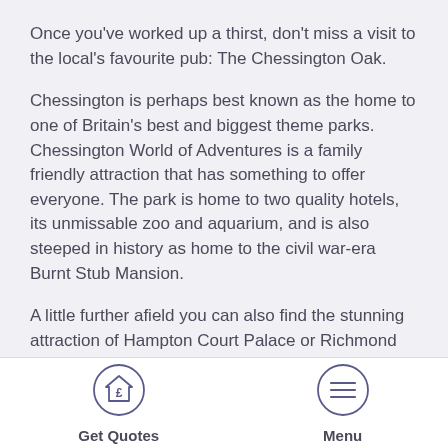Once you've worked up a thirst, don't miss a visit to the local's favourite pub: The Chessington Oak.
Chessington is perhaps best known as the home to one of Britain's best and biggest theme parks. Chessington World of Adventures is a family friendly attraction that has something to offer everyone. The park is home to two quality hotels, its unmissable zoo and aquarium, and is also steeped in history as home to the civil war-era Burnt Stub Mansion.
A little further afield you can also find the stunning attraction of Hampton Court Palace or Richmond Park. Chessington has two train stations, from both of which you can travel direct to London Waterloo, making the town perfect for those that need to commute. Reallymoving can help you find the best surveyors in the Chessington area.
[Figure (illustration): Circular icon with a house and pound sign symbol, labeled Get Quotes]
[Figure (illustration): Circular icon with three horizontal lines (hamburger menu), labeled Menu]